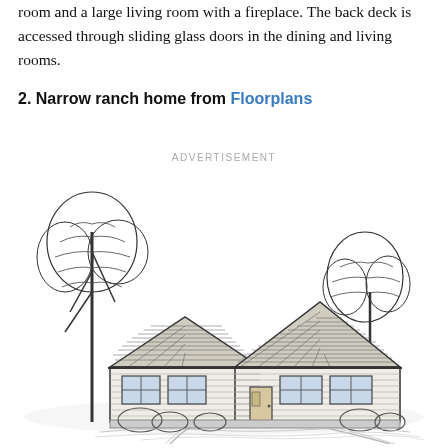room and a large living room with a fireplace. The back deck is accessed through sliding glass doors in the dining and living rooms.
2. Narrow ranch home from Floorplans
ADVERTISEMENT
[Figure (illustration): Black and white architectural sketch illustration of a narrow ranch-style home with a gabled roof, horizontal siding, multiple windows, a central entrance, surrounding trees and shrubs, and a curved driveway in the foreground.]